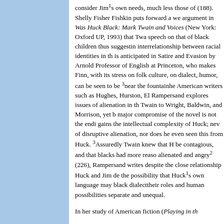consider Jim¹s own needs, much less those of (188). Shelly Fisher Fishkin puts forward a we argument in Was Huck Black: Mark Twain and Voices (New York: Oxford UP, 1993) that Twa speech on that of black children thus suggestin interrelationship between racial identities in th is anticipated in Satire and Evasion by Arnold Professor of English at Princeton, who makes Finn, with its stress on folk culture, on dialect, humor, can be seen to be ³near the fountainhe American writers such as Hughes, Hurston, El Rampersand explores issues of alienation in th Twain to Wright, Baldwin, and Morrison, yet b major compromise of the novel is not the endi gains the intellectual complexity of Huck; nev of disruptive alienation, nor does he even seen this from Huck. ³Assuredly Twain knew that H be contagious, and that blacks had more reaso alienated and angry² (226), Rampersand writes despite the close relationship Huck and Jim de the possibility that Huck¹s own language may black dialecttheir roles and human possibilities separate and unequal.
In her study of American fiction (Playing in th